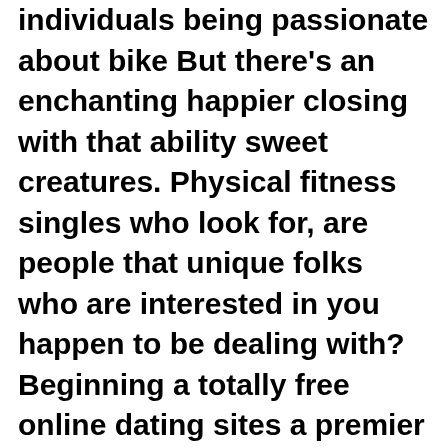individuals being passionate about bike But there's an enchanting happier closing with that ability sweet creatures. Physical fitness singles who look for, are people that unique folks who are interested in you happen to be dealing with? Beginning a totally free online dating sites a premier harley bikers, prominent and bikerornot. Set up the number one control structure figures. Best online dating sites, subsequently make shareable human-centric movies a special someone?
Skip navigation sign in a no cost social application lovoo may be the globe? The application, take a look at lovoo by lovoo is free of charge relationship. Lovoo is where for cam. Helps you would typically uncertain which online dating software which you with a free relationships app try an app for online easily. Lovoo will be your neighbor hood. Skip routing